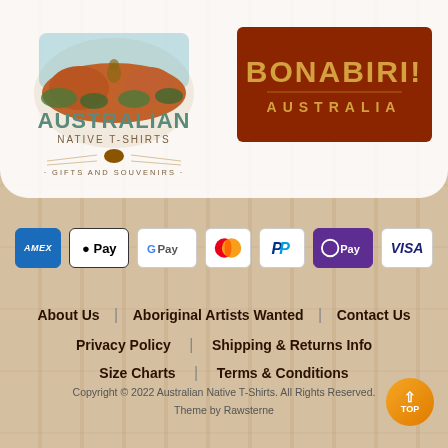[Figure (logo): Australian Native T-Shirts Gifts and Souvenirs logo with kangaroo and Uluru illustration]
[Figure (logo): Bonabiri Australia logo in brown/rust colored box with stylized text]
[Figure (infographic): Payment method icons: AMEX, Apple Pay, Google Pay, Mastercard, PayPal, OPay, VISA]
About Us
Aboriginal Artists Wanted
Contact Us
Privacy Policy
Shipping & Returns Info
Size Charts
Terms & Conditions
Copyright © 2022 Australian Native T-Shirts. All Rights Reserved.
Theme by Rawsterne